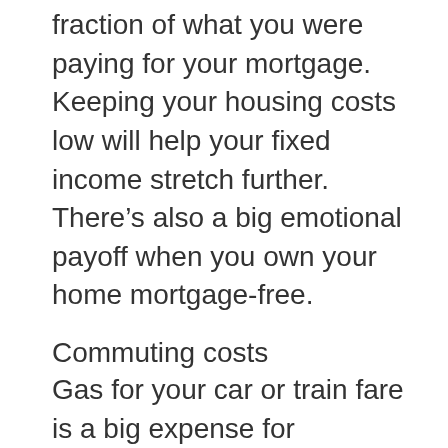fraction of what you were paying for your mortgage. Keeping your housing costs low will help your fixed income stretch further. There's also a big emotional payoff when you own your home mortgage-free.
Commuting costs
Gas for your car or train fare is a big expense for employees with long daily commutes to work. Commuting also puts a lot of wear on your car that could necessitate more frequent repairs and maintenance or even a new vehicle. In retirement, all your driving is for personal